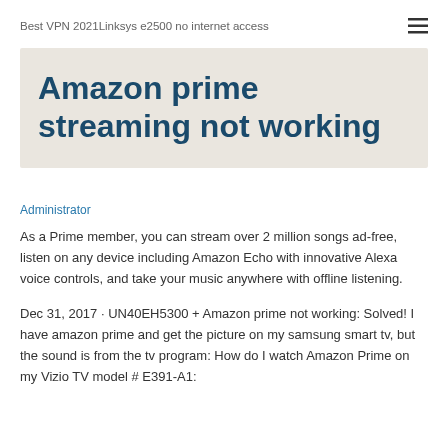Best VPN 2021Linksys e2500 no internet access
Amazon prime streaming not working
Administrator
As a Prime member, you can stream over 2 million songs ad-free, listen on any device including Amazon Echo with innovative Alexa voice controls, and take your music anywhere with offline listening.
Dec 31, 2017 · UN40EH5300 + Amazon prime not working: Solved! I have amazon prime and get the picture on my samsung smart tv, but the sound is from the tv program: How do I watch Amazon Prime on my Vizio TV model # E391-A1: